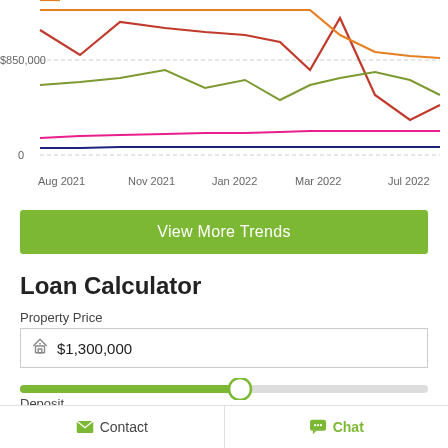[Figure (line-chart): Multi-line chart showing property price trends from Aug 2021 to Jul 2022. Lines in red (dark), orange, olive/green, magenta/pink, and dark blue. Y-axis label at $850,000 and 0. X-axis labels: Aug 2021, Nov 2021, Jan 2022, Mar 2022, Jul 2022.]
View More Trends
Loan Calculator
Property Price
$1,300,000
Deposit
$390,000
30%
Contact   Chat